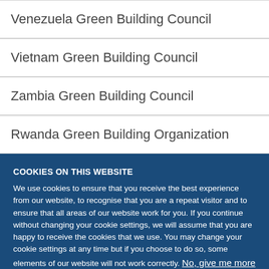Venezuela Green Building Council
Vietnam Green Building Council
Zambia Green Building Council
Rwanda Green Building Organization
COOKIES ON THIS WEBSITE
We use cookies to ensure that you receive the best experience from our website, to recognise that you are a repeat visitor and to ensure that all areas of our website work for you. If you continue without changing your cookie settings, we will assume that you are happy to receive the cookies that we use. You may change your cookie settings at any time but if you choose to do so, some elements of our website will not work correctly. No, give me more info
OK, I agree